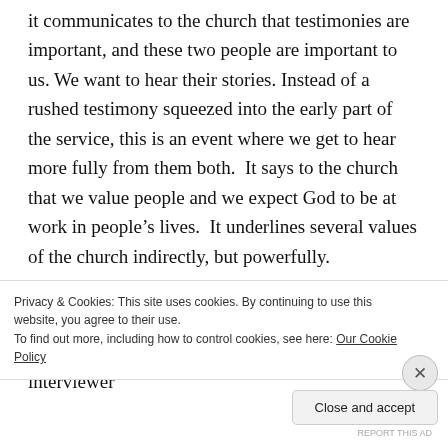it communicates to the church that testimonies are important, and these two people are important to us. We want to hear their stories. Instead of a rushed testimony squeezed into the early part of the service, this is an event where we get to hear more fully from them both.  It says to the church that we value people and we expect God to be at work in people's lives.  It underlines several values of the church indirectly, but powerfully.
2  A non-nervous person is in charge.  The interviewer
Privacy & Cookies: This site uses cookies. By continuing to use this website, you agree to their use.
To find out more, including how to control cookies, see here: Our Cookie Policy